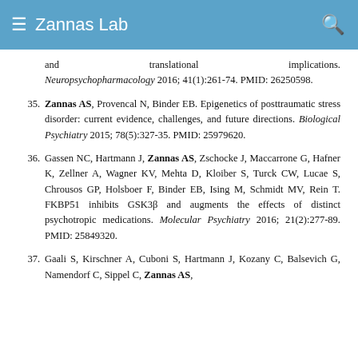≡ Zannas Lab 🔍
and translational implications. Neuropsychopharmacology 2016; 41(1):261-74. PMID: 26250598.
35. Zannas AS, Provencal N, Binder EB. Epigenetics of posttraumatic stress disorder: current evidence, challenges, and future directions. Biological Psychiatry 2015; 78(5):327-35. PMID: 25979620.
36. Gassen NC, Hartmann J, Zannas AS, Zschocke J, Maccarrone G, Hafner K, Zellner A, Wagner KV, Mehta D, Kloiber S, Turck CW, Lucae S, Chrousos GP, Holsboer F, Binder EB, Ising M, Schmidt MV, Rein T. FKBP51 inhibits GSK3β and augments the effects of distinct psychotropic medications. Molecular Psychiatry 2016; 21(2):277-89. PMID: 25849320.
37. Gaali S, Kirschner A, Cuboni S, Hartmann J, Kozany C, Balsevich G, Namendorf C, Sippel C, Zannas AS,